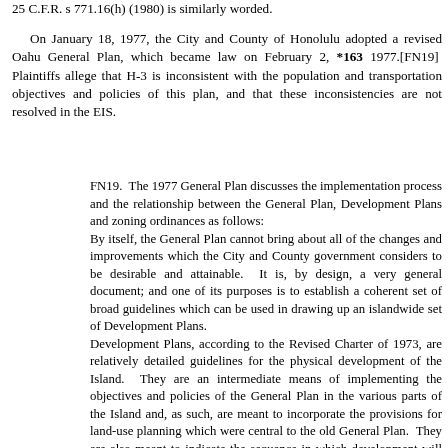25 C.F.R. s 771.16(h) (1980) is similarly worded.
On January 18, 1977, the City and County of Honolulu adopted a revised Oahu General Plan, which became law on February 2, *163 1977.[FN19]  Plaintiffs allege that H-3 is inconsistent with the population and transportation objectives and policies of this plan, and that these inconsistencies are not resolved in the EIS.
FN19.  The 1977 General Plan discusses the implementation process and the relationship between the General Plan, Development Plans and zoning ordinances as follows:
By itself, the General Plan cannot bring about all of the changes and improvements which the City and County government considers to be desirable and attainable.  It is, by design, a very general document; and one of its purposes is to establish a coherent set of broad guidelines which can be used in drawing up an islandwide set of Development Plans.
Development Plans, according to the Revised Charter of 1973, are relatively detailed guidelines for the physical development of the Island.  They are an intermediate means of implementing the objectives and policies of the General Plan in the various parts of the Island and, as such, are meant to incorporate the provisions for land-use planning which were central to the old General Plan.  They are also meant to indicate the sequence in which development will occur.
Development Plans will contain 'statements of standards and principles' with respect to land uses for residential, recreational, agricultural, commercial, industrial, and institutional purposes and with respect to open spaces.  In addition, they will contain 'statements of urban design principles and controls.'  They should not, however, be